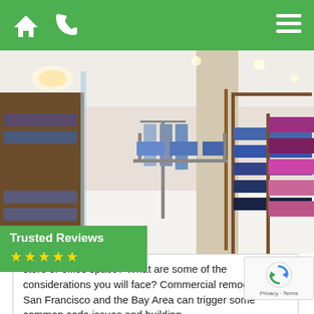Navigation bar with home icon, phone icon, and hamburger menu
[Figure (photo): Interior of a retail clothing store with wooden shelving units displaying folded garments in blue, purple, orange, and black. Hanging clothes visible in the background. Bright, modern store layout with white tile floor.]
[Figure (infographic): Trusted Reviews badge - green rectangle with white text 'Trusted Reviews' and five yellow star icons below]
store or office space? What are some of the considerations you will face? Commercial remodeling in San Francisco and the Bay Area can trigger some common code issues and building
[Figure (other): reCAPTCHA widget showing spinning arrows logo and Privacy · Terms links]